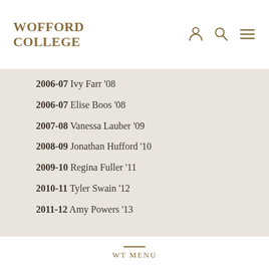WOFFORD COLLEGE
2006-07 Ivy Farr '08
2006-07 Elise Boos '08
2007-08 Vanessa Lauber '09
2008-09 Jonathan Hufford '10
2009-10 Regina Fuller '11
2010-11 Tyler Swain '12
2011-12 Amy Powers '13
WT MENU